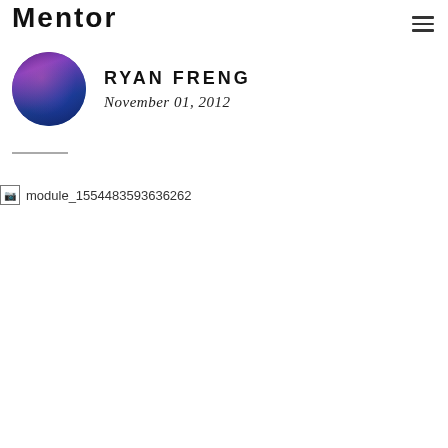Mentor
RYAN FRENG
November 01, 2012
[Figure (photo): Broken image placeholder: module_1554483593636262]